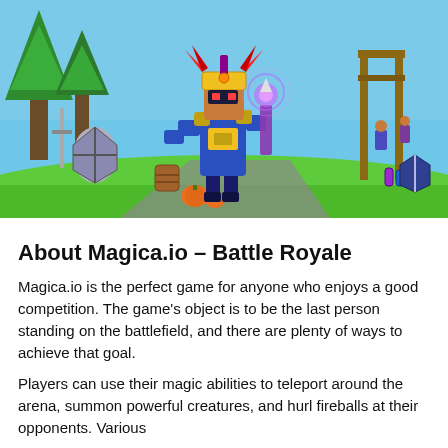[Figure (screenshot): A 3D cartoon-style video game screenshot showing a blocky warrior character in blue and gold armor holding a glowing staff with a magical aura, standing on a green grassy battlefield with pumpkins. Background shows trees, barrels, shields, weapons on stands, and other game elements under a bright blue sky.]
About Magica.io – Battle Royale
Magica.io is the perfect game for anyone who enjoys a good competition. The game's object is to be the last person standing on the battlefield, and there are plenty of ways to achieve that goal.
Players can use their magic abilities to teleport around the arena, summon powerful creatures, and hurl fireballs at their opponents. Various